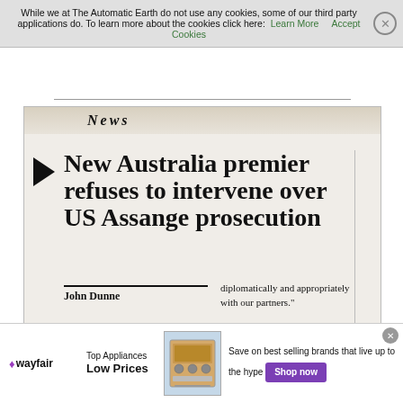While we at The Automatic Earth do not use any cookies, some of our third party applications do. To learn more about the cookies click here: Learn More   Accept Cookies
[Figure (photo): Photograph of a newspaper page showing a news article. The newspaper section header reads 'News'. The headline reads 'New Australia premier refuses to intervene over US Assange prosecution'. Byline: John Dunne. Body text begins: 'AUSTRALIA'S new' and right column text: 'diplomatically and appropriately with our partners.']
[Figure (screenshot): Advertisement for Wayfair - Top Appliances Low Prices. Shows a stove/oven appliance image. Text: 'Save on best selling brands that live up to the hype'. Button: 'Shop now'.]